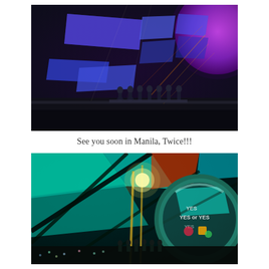[Figure (photo): TWICE K-pop girl group performing on a concert stage with blue and purple LED panels, dramatic lighting, women in dark outfits standing on stage, large circular ring structure visible on right side with golden light beams]
See you soon in Manila, Twice!!!
[Figure (photo): TWICE concert stage shot from lower angle showing teal/green LED ceiling panels, large circular ring display with 'YES or YES' text, group of performers on stage in dark outfits, colorful stage lighting]